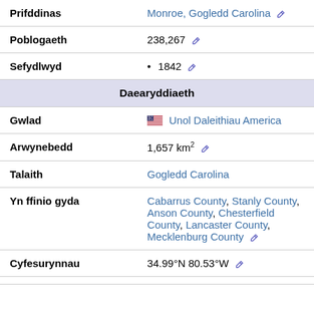| Prifddinas | Monroe, Gogledd Carolina ✎ |
| Poblogaeth | 238,267 ✎ |
| Sefydlwyd | • 1842 ✎ |
| Daearyddiaeth |  |
| Gwlad | 🇺🇸 Unol Daleithiau America |
| Arwynebedd | 1,657 km² ✎ |
| Talaith | Gogledd Carolina |
| Yn ffinio gyda | Cabarrus County, Stanly County, Anson County, Chesterfield County, Lancaster County, Mecklenburg County ✎ |
| Cyfesurynnau | 34.99°N 80.53°W ✎ |